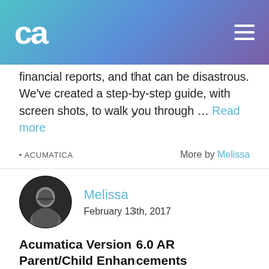ca
financial reports, and that can be disastrous. We've created a step-by-step guide, with screen shots, to walk you through … Read more
• ACUMATICA    More by Melissa
[Figure (photo): Black and white circular profile photo of Melissa]
Melissa
February 13th, 2017
Acumatica Version 6.0 AR Parent/Child Enhancements
If you already have Acumatica, you need to